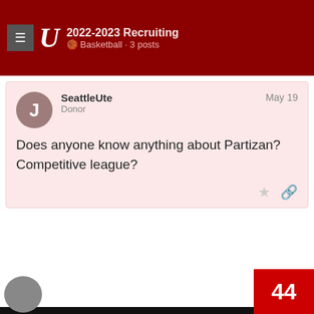2022-2023 Recruiting · Basketball · 3 posts
SeattleUte
Donor
May 19
Does anyone know anything about Partizan? Competitive league?
May 19
This website uses cookies to ensure you get the best experience on our website.
Learn more
Got it!
44